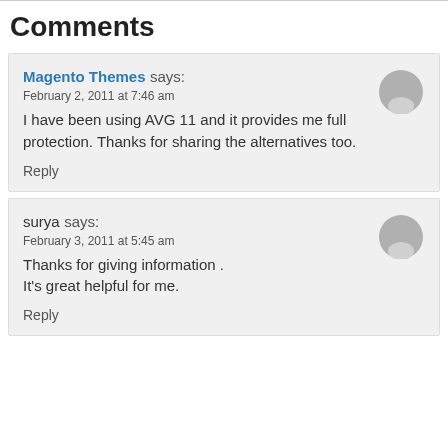Comments
Magento Themes says:
February 2, 2011 at 7:46 am
I have been using AVG 11 and it provides me full protection. Thanks for sharing the alternatives too.
Reply
surya says:
February 3, 2011 at 5:45 am
Thanks for giving information .
It's great helpful for me.
Reply